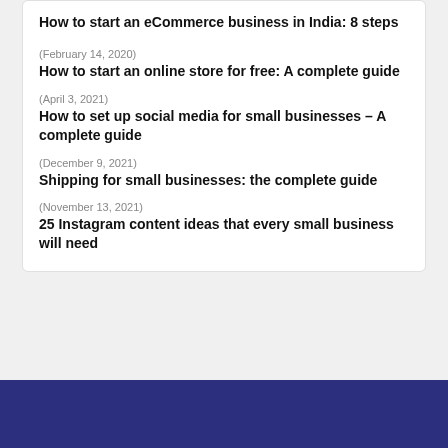How to start an eCommerce business in India: 8 steps
(February 14, 2020)
How to start an online store for free: A complete guide
(April 3, 2021)
How to set up social media for small businesses – A complete guide
(December 9, 2021)
Shipping for small businesses: the complete guide
(November 13, 2021)
25 Instagram content ideas that every small business will need